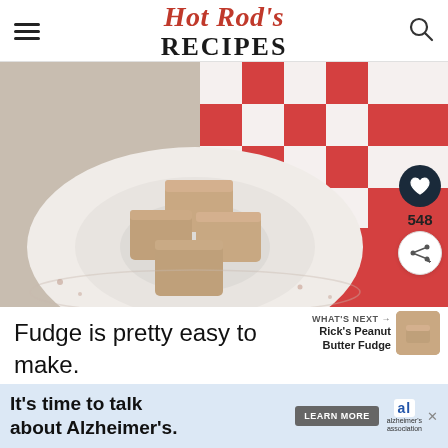Hot Rod's RECIPES
[Figure (photo): Four pieces of cream-colored fudge stacked on a white rustic plate with a red and white checkered napkin in the background]
WHAT'S NEXT → Rick's Peanut Butter Fudge
Fudge is pretty easy to make. is to have a good thermometer on h ixm re
It's time to talk about Alzheimer's. LEARN MORE